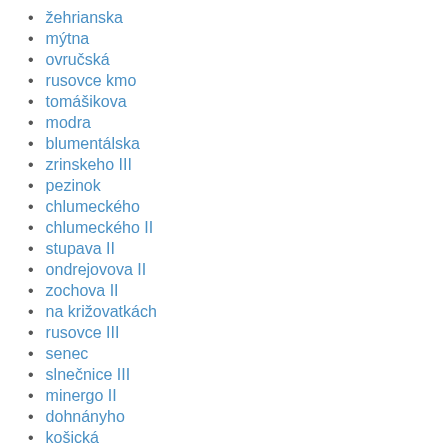žehrianska
mýtna
ovručská
rusovce kmo
tomášikova
modra
blumentálska
zrinskeho III
pezinok
chlumeckého
chlumeckého II
stupava II
ondrejovova II
zochova II
na križovatkách
rusovce III
senec
slnečnice III
minergo II
dohnányho
košická
jiskrová
hlboká